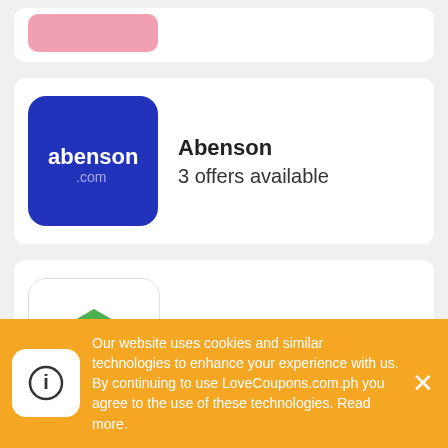[Figure (logo): Partial pink/rose colored logo at top of first store card]
Abenson
3 offers available
Parcel ABC
5 offers available
Featured Stores
Shopee
7 offers available
Our website uses cookies and similar technologies to enhance your experience with us. By continuing to use LoveCoupons.com.ph you agree to the use of these technologies. Read more.